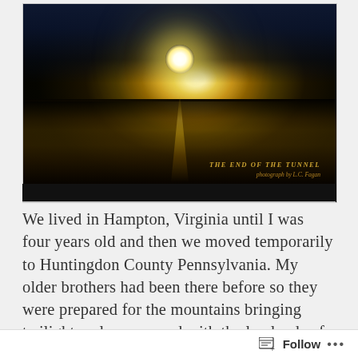[Figure (photo): Night or dusk seascape photograph showing a bright moon or sun low on the horizon over water, with golden light reflected on the water's surface forming a path. Dark clouds above. Text overlay reads 'THE END OF THE TUNNEL' and 'photograph by L.C. Fagan'.]
We lived in Hampton, Virginia until I was four years old and then we moved temporarily to Huntingdon County Pennsylvania. My older brothers had been there before so they were prepared for the mountains bringing twilight early compared with the lowlands of the Tidewater Peninsula. The transition in my young